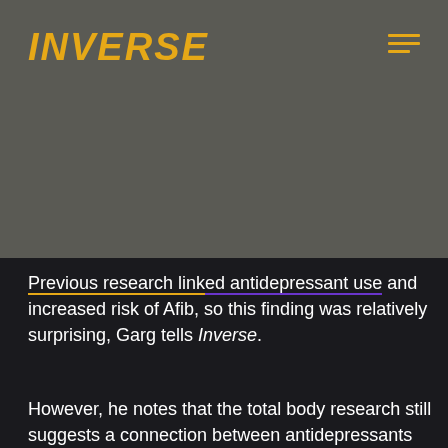[Figure (logo): INVERSE logo in bold italic gold/amber text on gray background]
Previous research linked antidepressant use and increased risk of Afib, so this finding was relatively surprising, Garg tells Inverse.
However, he notes that the total body research still suggests a connection between antidepressants and